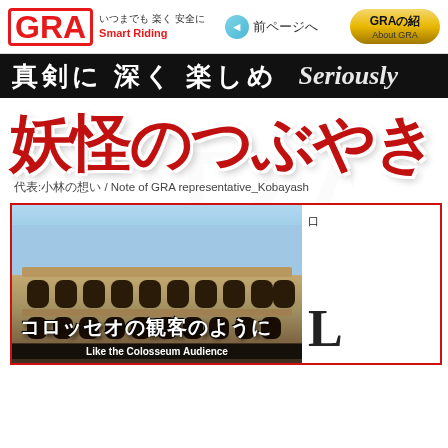[Figure (screenshot): GRA Smart Riding website header with logo, navigation, and page content showing 妖怪のつぶやき (Yokai's Murmur) section with Colosseum image]
GRA いつまでも 楽く 安全に Smart Riding　◄ 前ページへ　GRAの紹 About GRA
真剣に 深く 楽しめ　Seriously
妖怪のつぶやき
代表:小林の想い / Note of GRA representative_Kobayashi
[Figure (photo): Photo of the Roman Colosseum with Japanese text overlay コロッセオの観客のように and English caption 'Like the Colosseum Audience']
コロッセオの観客のように
Like the Colosseum Audience
L